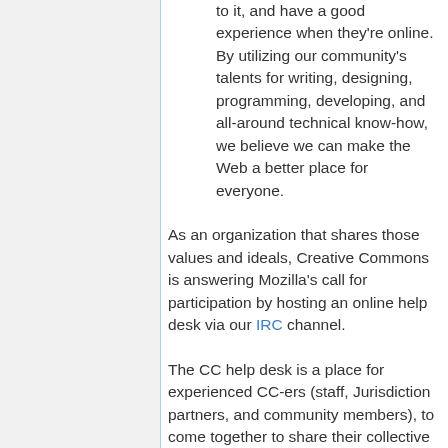to it, and have a good experience when they're online. By utilizing our community's talents for writing, designing, programming, developing, and all-around technical know-how, we believe we can make the Web a better place for everyone.
As an organization that shares those values and ideals, Creative Commons is answering Mozilla's call for participation by hosting an online help desk via our IRC channel.
The CC help desk is a place for experienced CC-ers (staff, Jurisdiction partners, and community members), to come together to share their collective expertise with those that are new to CC